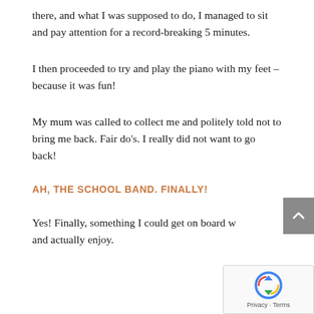there, and what I was supposed to do, I managed to sit and pay attention for a record-breaking 5 minutes.
I then proceeded to try and play the piano with my feet – because it was fun!
My mum was called to collect me and politely told not to bring me back. Fair do's. I really did not want to go back!
AH, THE SCHOOL BAND. FINALLY!
Yes! Finally, something I could get on board with and actually enjoy.